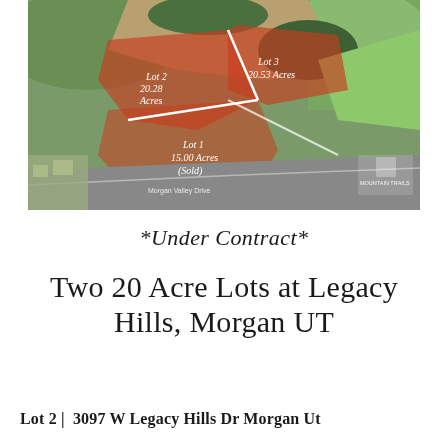[Figure (photo): Aerial drone photograph of three parcels of land at Legacy Hills, Morgan UT. Three lots highlighted in red/orange overlay: Lot 1 (15.00 Acres, Sold), Lot 2 (20.28 Acres), Lot 3 (20.53 Acres). White boundary lines separate the lots. Mountain Valley Drive visible at bottom. Mountain Trails logo visible in lower right corner.]
*Under Contract*
Two 20 Acre Lots at Legacy Hills, Morgan UT
Lot 2 |  3097 W Legacy Hills Dr Morgan Ut